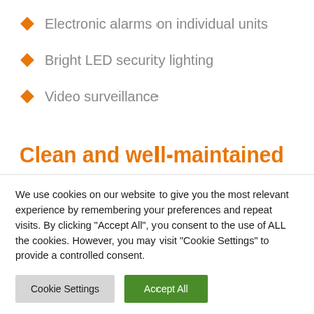Electronic alarms on individual units
Bright LED security lighting
Video surveillance
Clean and well-maintained
Burnt lights are replaced
We use cookies on our website to give you the most relevant experience by remembering your preferences and repeat visits. By clicking "Accept All", you consent to the use of ALL the cookies. However, you may visit "Cookie Settings" to provide a controlled consent.